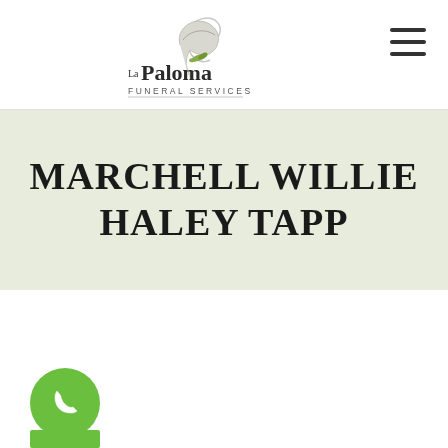[Figure (logo): La Paloma Funeral Services logo with a dove and leaf, text reads 'La Paloma FUNERAL SERVICES']
MARCHELL WILLIE HALEY TAPP
[Figure (other): Green circular phone/call button icon]